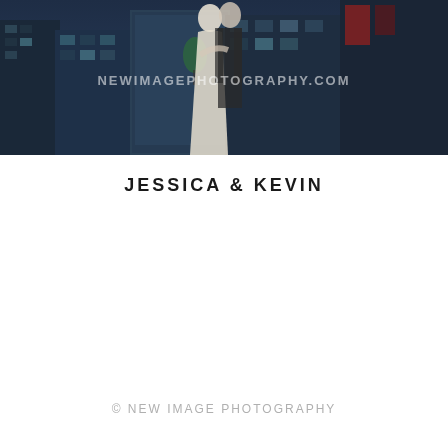[Figure (photo): Wedding couple embracing at night in an urban setting with city buildings in background, watermark text NEWIMAGEPHOTOGRAPHY.COM overlaid on image]
JESSICA & KEVIN
© NEW IMAGE PHOTOGRAPHY